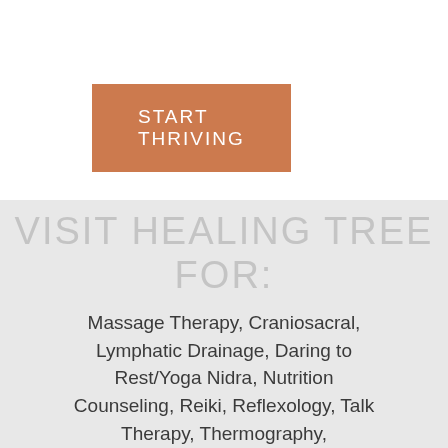START THRIVING
VISIT HEALING TREE FOR:
Massage Therapy, Craniosacral, Lymphatic Drainage, Daring to Rest/Yoga Nidra, Nutrition Counseling, Reiki, Reflexology, Talk Therapy, Thermography,